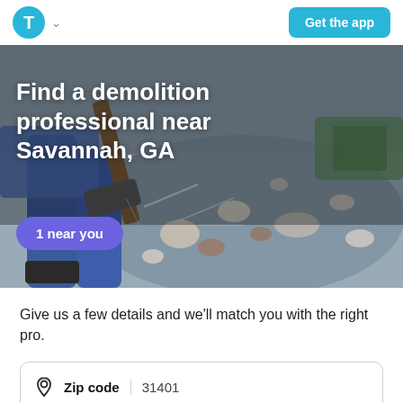T (logo) | Get the app
[Figure (photo): Hero image showing a person using a demolition tool breaking concrete/debris, action shot with flying debris and dust.]
Find a demolition professional near Savannah, GA
1 near you
Give us a few details and we'll match you with the right pro.
Zip code | 31401